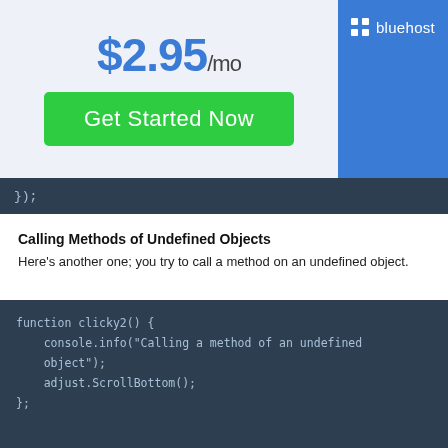[Figure (infographic): Bluehost advertisement banner showing price $2.95/mo with a green 'Get Started Now' button and Bluehost logo on blue background]
});
Calling Methods of Undefined Objects
Here's another one; you try to call a method on an undefined object.
function clicky2() {
    console.info("Calling a method of an undefined object");
    adjust.ScrollBottom();
};